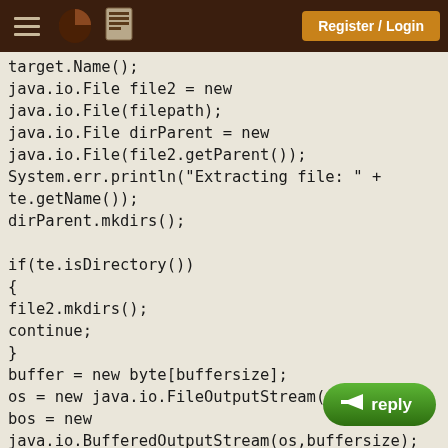Register / Login
target.Name();
java.io.File file2 = new java.io.File(filepath);
java.io.File dirParent = new
java.io.File(file2.getParent());
System.err.println("Extracting file: " + te.getName());
dirParent.mkdirs();

if(te.isDirectory())
{
file2.mkdirs();
continue;
}
buffer = new byte[buffersize];
os = new java.io.FileOutputStream(file2);
bos = new java.io.BufferedOutputStream(os,buffersize);
tis.copyEntryContents(bos);
bos.close();
os.close();
}
bos.flush();
tis.close();